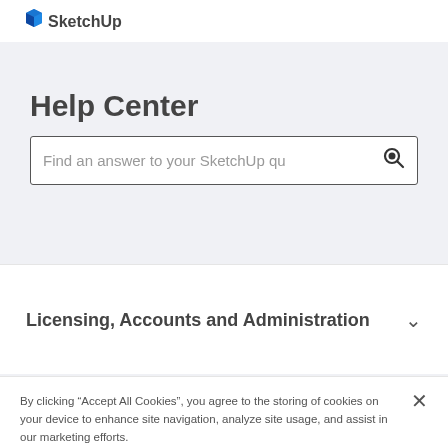SketchUp
Help Center
Find an answer to your SketchUp qu
Licensing, Accounts and Administration
By clicking “Accept All Cookies”, you agree to the storing of cookies on your device to enhance site navigation, analyze site usage, and assist in our marketing efforts.